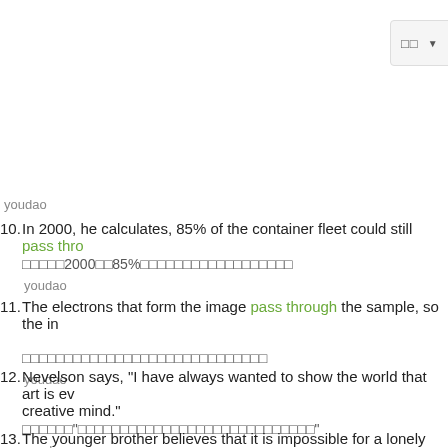[Figure (screenshot): Search bar UI with dropdown selector showing Chinese characters and highlighted search term 'lj:pass through' in blue]
youdao
10. In 2000, he calculates, 85% of the container fleet could still pass through [truncated] | Chinese translation | youdao
11. The electrons that form the image pass through the sample, so the in[truncated] | Chinese translation | youdao
12. Nevelson says, "I have always wanted to show the world that art is ev[truncated] creative mind." | Chinese translation | youdao
13. The younger brother believes that it is impossible for a lonely and hel[truncated]